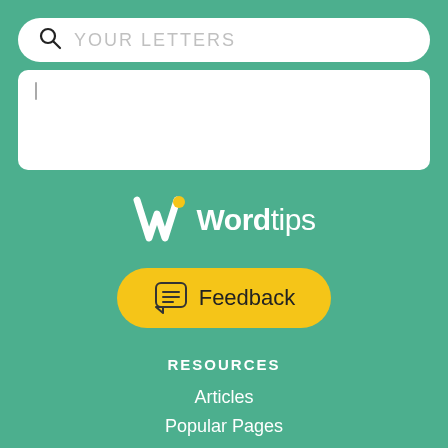[Figure (screenshot): Search bar with magnifying glass icon and placeholder text YOUR LETTERS on green background]
[Figure (screenshot): White results panel below search bar with a cursor indicator]
[Figure (logo): Wordtips logo with white W icon and yellow accent dot]
[Figure (screenshot): Yellow rounded Feedback button with chat bubble icon]
RESOURCES
Articles
Popular Pages
Top Searches
External Resources